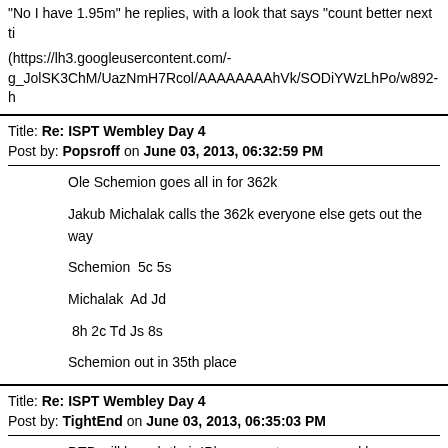"No I have 1.95m" he replies, with a look that says "count better next ti
(https://lh3.googleusercontent.com/-g_JolSK3ChM/UazNmH7Rcol/AAAAAAAAhVk/SODiYWzLhPo/w892-h
Title: Re: ISPT Wembley Day 4
Post by: Popsroff on June 03, 2013, 06:32:59 PM
Ole Schemion goes all in for 362k

Jakub Michalak calls the 362k everyone else gets out the way

Schemion  5c 5s

Michalak  Ad Jd

 8h 2c Td Js 8s

Schemion out in 35th place
Title: Re: ISPT Wembley Day 4
Post by: TightEnd on June 03, 2013, 06:35:03 PM
DTD will launch their IPhone app tomorrow and be streaming the ISPT

search App store for dusktilldawn